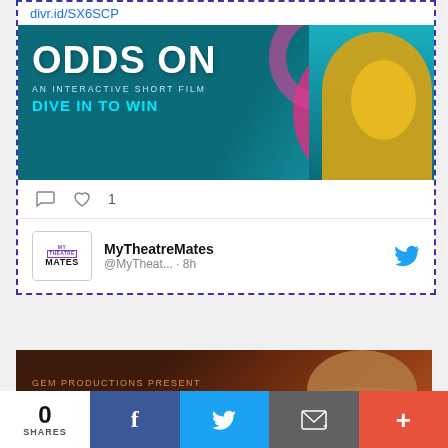divr.id/SX6SCP
[Figure (photo): ODDS ON - An Interactive Short Film - Dive In To Win promotional banner with woman in yellow top and pink pool rings on teal/cyan background]
1
MyTheatreMates @MyTheat... · 8h
[Figure (photo): GEM Productions present - second promotional banner with straw hat on dark orange/brown background]
0
SHARES